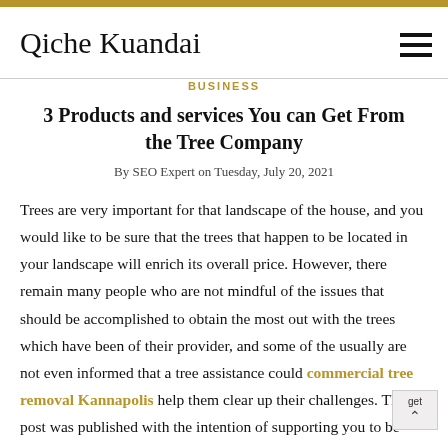Qiche Kuandai
BUSINESS
3 Products and services You can Get From the Tree Company
By SEO Expert on Tuesday, July 20, 2021
Trees are very important for that landscape of the house, and you would like to be sure that the trees that happen to be located in your landscape will enrich its overall price. However, there remain many people who are not mindful of the issues that should be accomplished to obtain the most out with the trees which have been of their provider, and some of the usually are not even informed that a tree assistance could commercial tree removal Kannapolis help them clear up their challenges. This post was published with the intention of supporting you to be aware of the issues you can get from a tree support, which will assist you to decide whether or not you